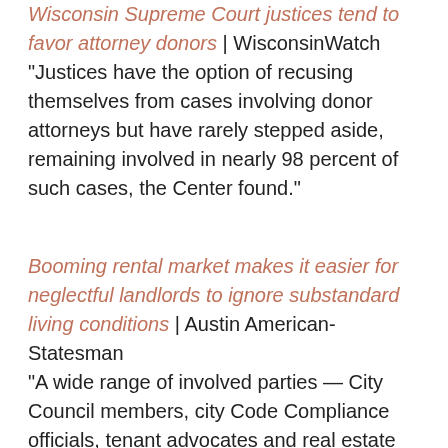Wisconsin Supreme Court justices tend to favor attorney donors | WisconsinWatch "Justices have the option of recusing themselves from cases involving donor attorneys but have rarely stepped aside, remaining involved in nearly 98 percent of such cases, the Center found."
Booming rental market makes it easier for neglectful landlords to ignore substandard living conditions | Austin American-Statesman "A wide range of involved parties — City Council members, city Code Compliance officials, tenant advocates and real estate industry groups — agree that Austin's real estate boom has made it possible for a subset of "bad actors" among rental property owners